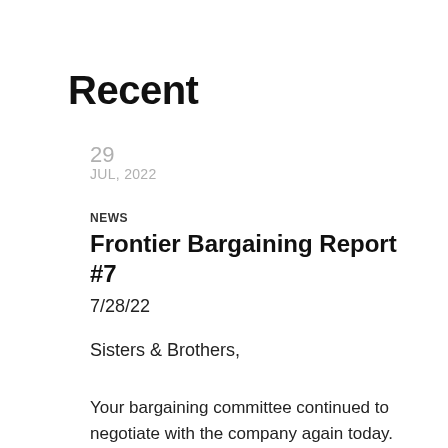Recent
29
JUL, 2022
NEWS
Frontier Bargaining Report #7
7/28/22
Sisters & Brothers,
Your bargaining committee continued to negotiate with the company again today. We reviewed information that continues to trickle in